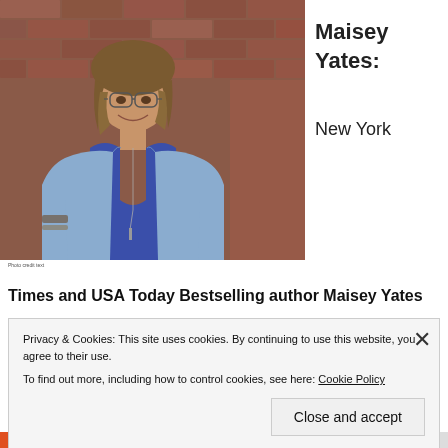[Figure (photo): Portrait photo of Maisey Yates, a woman with shoulder-length wavy hair, glasses, wearing a blue top and denim jacket, standing against a red brick wall, smiling.]
Photo credit text
Maisey Yates:
New York
Times and USA Today Bestselling author Maisey Yates
Privacy & Cookies: This site uses cookies. By continuing to use this website, you agree to their use.
To find out more, including how to control cookies, see here: Cookie Policy
Close and accept